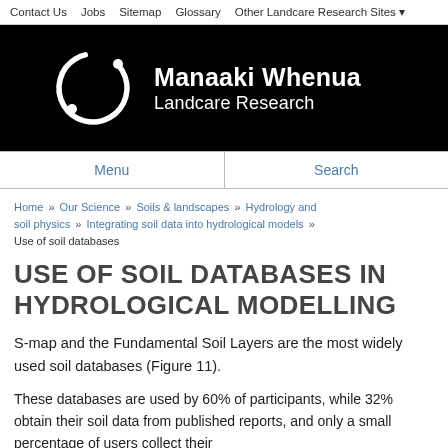Contact Us  Jobs  Sitemap  Glossary  Other Landcare Research Sites
[Figure (logo): Manaaki Whenua Landcare Research logo — white circular arc with dots on black background, with text 'Manaaki Whenua Landcare Research' in white on black.]
Menu   Search
Home » Our Science » Soils & landscapes » Hydrology and soil physics » Integrating soil data into hydrological models » Use of soil databases
USE OF SOIL DATABASES IN HYDROLOGICAL MODELLING
S-map and the Fundamental Soil Layers are the most widely used soil databases (Figure 11).
These databases are used by 60% of participants, while 32% obtain their soil data from published reports, and only a small percentage of users collect their